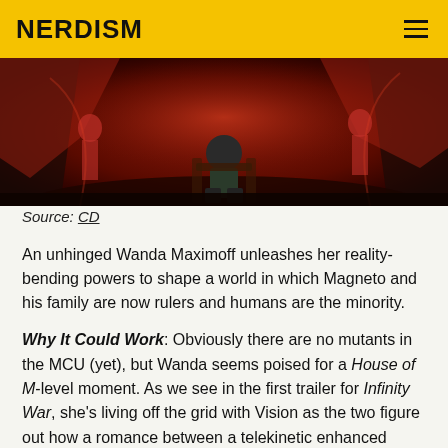NERDISM
[Figure (illustration): Comic book style illustration showing a figure seated on a throne surrounded by red and dark dramatic imagery with other figures around.]
Source: CD
An unhinged Wanda Maximoff unleashes her reality-bending powers to shape a world in which Magneto and his family are now rulers and humans are the minority.
Why It Could Work: Obviously there are no mutants in the MCU (yet), but Wanda seems poised for a House of M-level moment. As we see in the first trailer for Infinity War, she's living off the grid with Vision as the two figure out how a romance between a telekinetic enhanced human and an